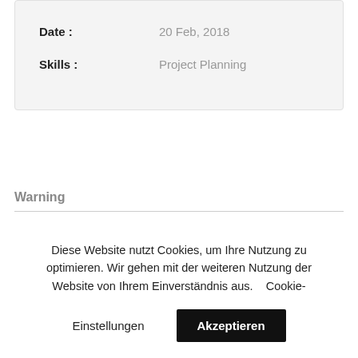| Date : | 20 Feb, 2018 |
| Skills : | Project Planning |
Warning
Diese Website nutzt Cookies, um Ihre Nutzung zu optimieren. Wir gehen mit der weiteren Nutzung der Website von Ihrem Einverständnis aus. Cookie-Einstellungen  Akzeptieren